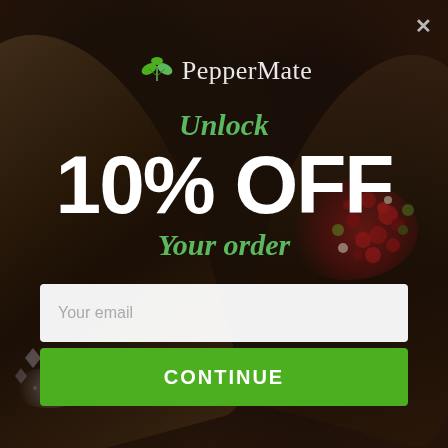[Figure (screenshot): Dark moody background with spoons and peppercorns/salt on a wooden surface]
PepperMate
Unlock
10% OFF
Your order
Your email
CONTINUE